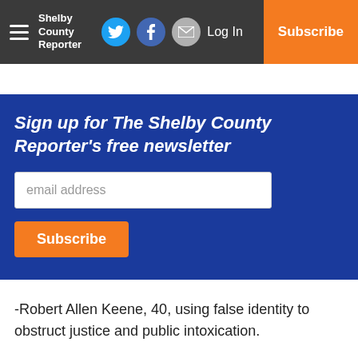Shelby County Reporter — Log In | Subscribe
Sign up for The Shelby County Reporter's free newsletter
-Robert Allen Keene, 40, using false identity to obstruct justice and public intoxication.
May 24